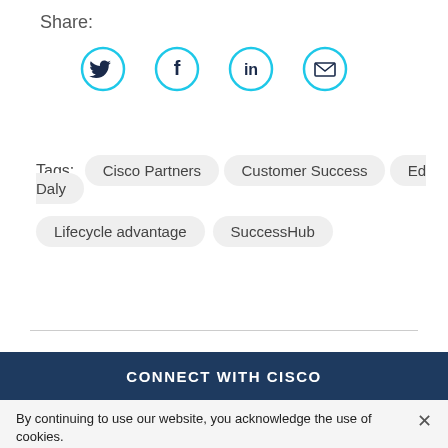Share:
[Figure (illustration): Four social share icon buttons in cyan circles: Twitter bird, Facebook f, LinkedIn in, Email envelope]
Tags: Cisco Partners  Customer Success  Ed Daly  Lifecycle advantage  SuccessHub
CONNECT WITH CISCO
By continuing to use our website, you acknowledge the use of cookies.
Privacy Statement >  Change Settings >